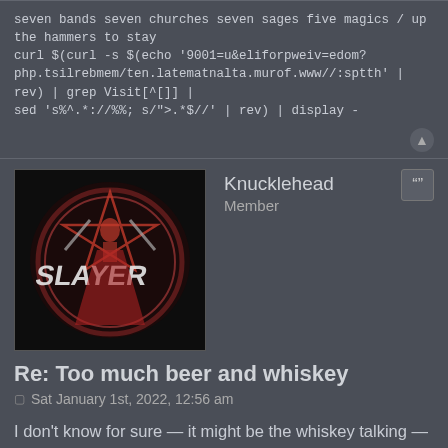seven bands seven churches seven sages five magics / up the hammers to stay
curl $(curl -s $(echo '9001=u&eliforpweiv=edom?php.tsilrebmem/ten.latematnalta.murof.www//:sptth' | rev) | grep Visit[^[]] | sed 's%^.*://%%; s/">.*$//' | rev) | display -
[Figure (photo): Slayer band logo artwork showing a pentagram with a warrior figure holding swords, red and black artwork]
Knucklehead
Member
Re: Too much beer and whiskey
Sat January 1st, 2022, 12:56 am
I don't know for sure — it might be the whiskey talking — but "Raining Blood" might be the best metal tune ever recorded.
melkor
AtlantaMetal Staff
Re: Too much beer and whiskey